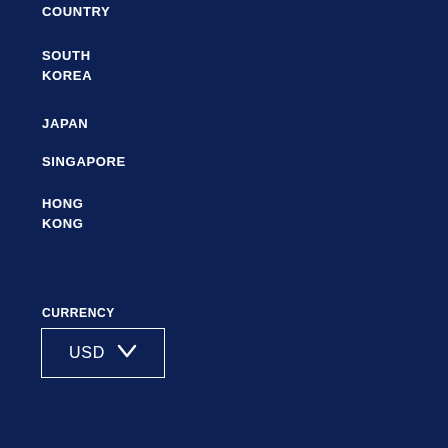COUNTRY
SOUTH KOREA
JAPAN
SINGAPORE
HONG KONG
CURRENCY
USD